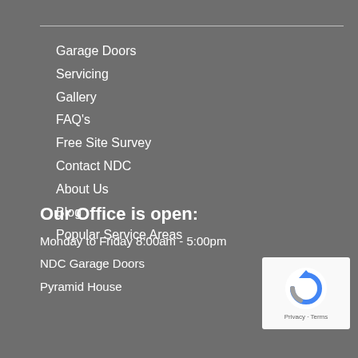Garage Doors
Servicing
Gallery
FAQ's
Free Site Survey
Contact NDC
About Us
Blog
Popular Service Areas
Our Office is open:
Monday to Friday 8:00am - 5:00pm
NDC Garage Doors
Pyramid House
[Figure (logo): reCAPTCHA logo with Privacy and Terms text]